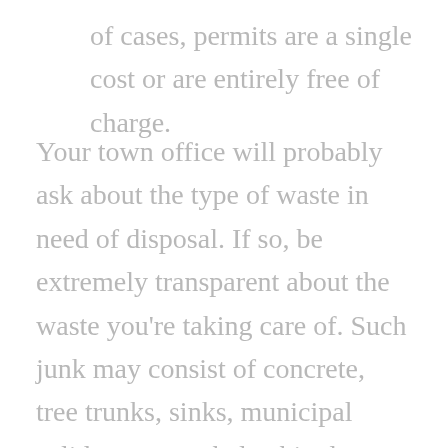of cases, permits are a single cost or are entirely free of charge.
Your town office will probably ask about the type of waste in need of disposal. If so, be extremely transparent about the waste you're taking care of. Such junk may consist of concrete, tree trunks, sinks, municipal solid waste, asphalt, shingles, gypsum, junk waste, iron, bricks, bedroom doors, home windows, plumbing, plastic components, paint cans, lawn clippings, treated wood, etc.